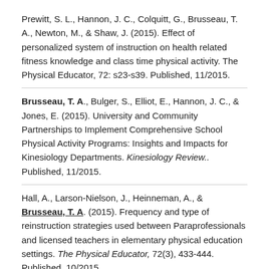Prewitt, S. L., Hannon, J. C., Colquitt, G., Brusseau, T. A., Newton, M., & Shaw, J. (2015). Effect of personalized system of instruction on health related fitness knowledge and class time physical activity. The Physical Educator, 72: s23-s39. Published, 11/2015.
Brusseau, T. A., Bulger, S., Elliot, E., Hannon, J. C., & Jones, E. (2015). University and Community Partnerships to Implement Comprehensive School Physical Activity Programs: Insights and Impacts for Kinesiology Departments. Kinesiology Review.. Published, 11/2015.
Hall, A., Larson-Nielson, J., Heinneman, A., & Brusseau, T. A. (2015). Frequency and type of reinstruction strategies used between Paraprofessionals and licensed teachers in elementary physical education settings. The Physical Educator, 72(3), 433-444. Published, 10/2015.
Prewitt, S., Hannon, J.C., Colquitt, G., Brusseau, T.A.